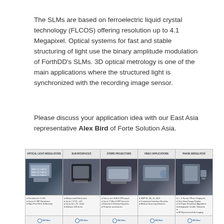The SLMs are based on ferroelectric liquid crystal technology (FLCOS) offering resolution up to 4.1 Megapixel. Optical systems for fast and stable structuring of light use the binary amplitude modulation of ForthDD's SLMs. 3D optical metrology is one of the main applications where the structured light is synchronized with the recording image sensor.
Please discuss your application idea with our East Asia representative Alex Bird of Forte Solution Asia.
[Figure (other): Product grid showing five product categories: Optical Light Modulators, SLM Interfaces, Stripe Projectors, Video Applications, and Phase Modulator. Each column has a header label, a product image, bullet-point features, and a company logo at the bottom.]